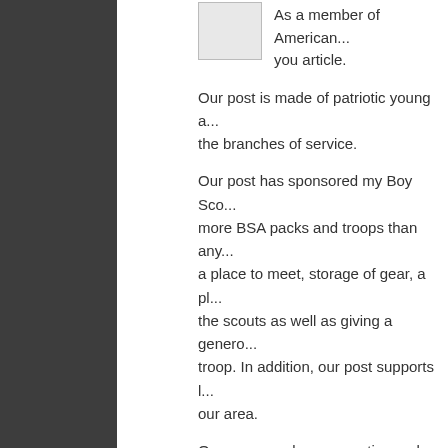As a member of American... you article.
Our post is made of patriotic young a... the branches of service.
Our post has sponsored my Boy Sco... more BSA packs and troops than any... a place to meet, storage of gear, a pl... the scouts as well as giving a genero... troop. In addition, our post supports l... our area.
Our new members are active and do... realize as military men they are the n...
This organization will not die. It is exp... article, but as long as we have a milit...
Panhandle on March 16, 2012 at 3:32 p
Reply
Debbie, you make a really...